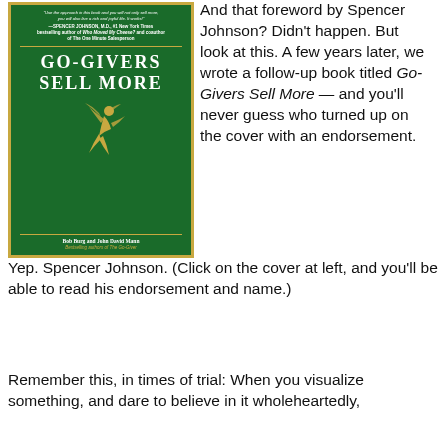[Figure (photo): Book cover of 'Go-Givers Sell More' by Bob Burg and John David Mann, green background with gold border, gold figure illustration, gold title text.]
And that foreword by Spencer Johnson? Didn't happen. But look at this. A few years later, we wrote a follow-up book titled Go-Givers Sell More — and you'll never guess who turned up on the cover with an endorsement.

Yep. Spencer Johnson. (Click on the cover at left, and you'll be able to read his endorsement and name.)
Remember this, in times of trial: When you visualize something, and dare to believe in it wholeheartedly,